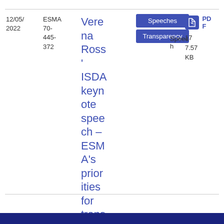12/05/2022
ESMA 70-445-372
Verena Ross
ISDA keynote speech – ESMA's priorities for transparency
Speeches
Transparency
Speech
PDF
17
7.57 KB